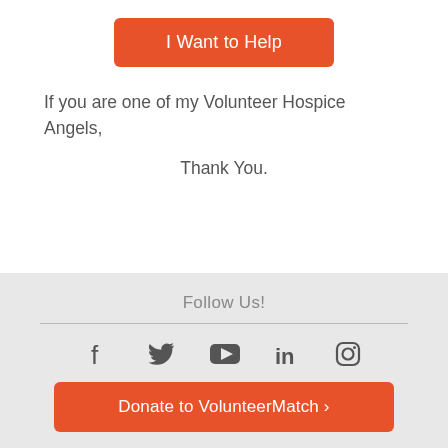I Want to Help
If you are one of my Volunteer Hospice Angels,
Thank You.
Follow Us!
[Figure (infographic): Social media icons: Facebook, Twitter, YouTube, LinkedIn, Instagram]
Donate to VolunteerMatch >